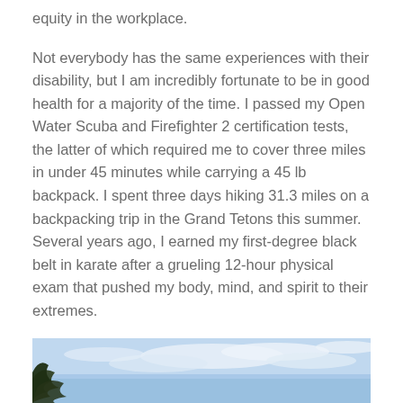equity in the workplace.
Not everybody has the same experiences with their disability, but I am incredibly fortunate to be in good health for a majority of the time. I passed my Open Water Scuba and Firefighter 2 certification tests, the latter of which required me to cover three miles in under 45 minutes while carrying a 45 lb backpack. I spent three days hiking 31.3 miles on a backpacking trip in the Grand Tetons this summer. Several years ago, I earned my first-degree black belt in karate after a grueling 12-hour physical exam that pushed my body, mind, and spirit to their extremes.
[Figure (photo): Partial photo showing a landscape with blue sky and clouds, with tree branches visible in the lower left corner, likely the Grand Tetons area.]